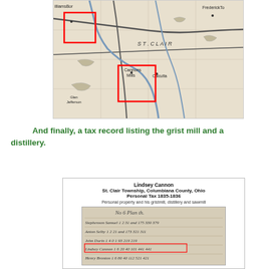[Figure (map): Historical map excerpt showing St. Clair Township area with roads, waterways, and place names including Williamsport, Fredericktown, Cannons Mills, and Calcutta. Two areas are highlighted with red rectangles indicating locations of interest.]
And finally, a tax record listing the grist mill and a distillery.
[Figure (photo): Scanned tax record document for Lindsey Cannon, St. Clair Township, Columbiana County, Ohio, Personal Tax 1835-1836. Shows personal property and his gristmill, distillery and sawmill. Handwritten ledger entries with columns for property details and tax values.]